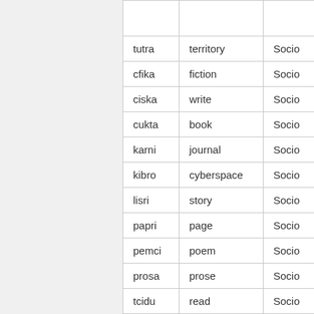| tutra | territory | Socio |
| cfika | fiction | Socio |
| ciska | write | Socio |
| cukta | book | Socio |
| karni | journal | Socio |
| kibro | cyberspace | Socio |
| lisri | story | Socio |
| papri | page | Socio |
| pemci | poem | Socio |
| prosa | prose | Socio |
| tcidu | read | Socio |
| xaksu | use up | Socio |
| cupra | produce | Socio |
| festi | waste | Socio |